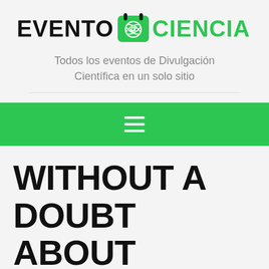[Figure (logo): Evento Ciencia logo with calendar/atom icon between the two words]
Todos los eventos de Divulgación Científica en un solo sitio
[Figure (other): Green navigation bar with hamburger menu icon]
WITHOUT A DOUBT ABOUT TINDER